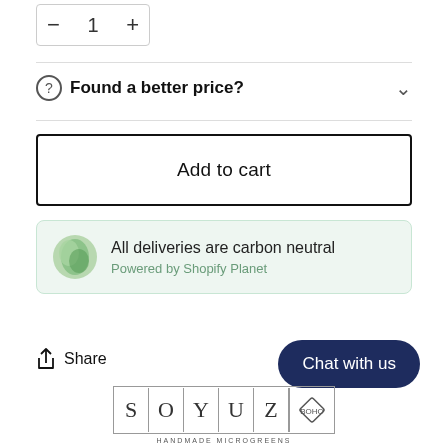[Figure (other): Quantity selector with minus, 1, plus buttons in a bordered box]
Found a better price?
Add to cart
[Figure (infographic): Green leaf icon with 'All deliveries are carbon neutral' and 'Powered by Shopify Planet' text in a light green rounded box]
Share
Chat with us
[Figure (logo): SOYUZ logo with individual letter boxes and a diamond emblem]